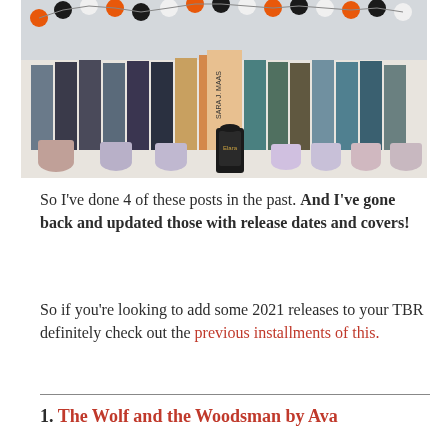[Figure (photo): A bookshelf with multiple books standing upright decorated with an orange, black, and white pom-pom garland. In front of the books are various decorative candles and small jars. A Sara J. Maas book is prominently visible in the center.]
So I've done 4 of these posts in the past. And I've gone back and updated those with release dates and covers!
So if you're looking to add some 2021 releases to your TBR definitely check out the previous installments of this.
1. The Wolf and the Woodsman by Ava